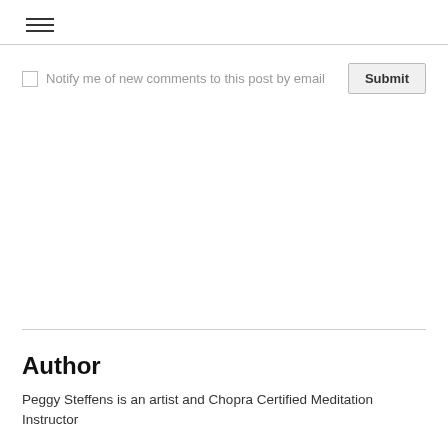≡
Notify me of new comments to this post by email
Author
Peggy Steffens is an artist and Chopra Certified Meditation Instructor